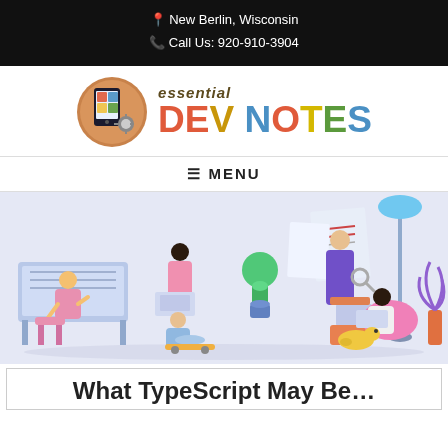New Berlin, Wisconsin
Call Us: 920-910-3904
[Figure (logo): Essential Dev Notes logo: circular puzzle-piece phone icon with gear, next to stylized multicolor 'essential DEV NOTES' text]
≡ MENU
[Figure (illustration): 3D illustration of diverse people working: person at desk with monitor, woman on laptop, man sitting on floor, man standing with laptop at podium, woman on bean bag with laptop, decorative tree and lamp]
What TypeScript May Be...